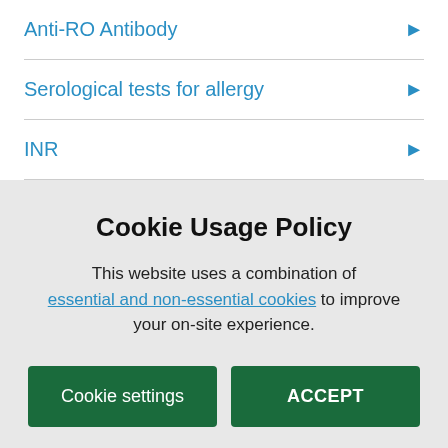Anti-RO Antibody
Serological tests for allergy
INR
Cookie Usage Policy
This website uses a combination of essential and non-essential cookies to improve your on-site experience.
Cookie settings
ACCEPT